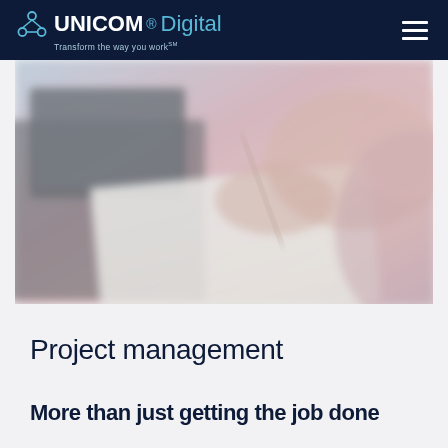UNICOM Digital — Transform the way you work℠
[Figure (photo): Blurred/motion photograph of a person writing in a notebook at a desk with a laptop visible in the background]
Project management
More text beginning (partially cropped at bottom)